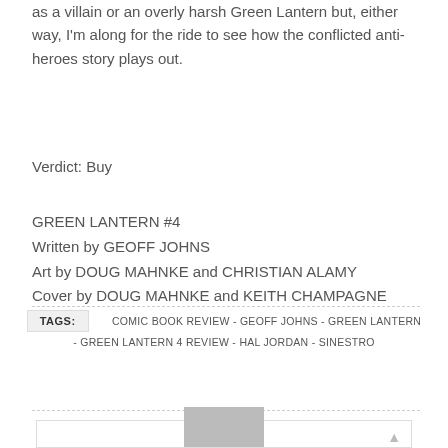as a villain or an overly harsh Green Lantern but, either way, I'm along for the ride to see how the conflicted anti-heroes story plays out.
Verdict: Buy
GREEN LANTERN #4
Written by GEOFF JOHNS
Art by DOUG MAHNKE and CHRISTIAN ALAMY
Cover by DOUG MAHNKE and KEITH CHAMPAGNE
TAGS: COMIC BOOK REVIEW - GEOFF JOHNS - GREEN LANTERN - GREEN LANTERN 4 REVIEW - HAL JORDAN - SINESTRO
[Figure (other): Avatar/profile image placeholder box with a grey silhouette at the bottom center and a small up-arrow icon in the top right corner]